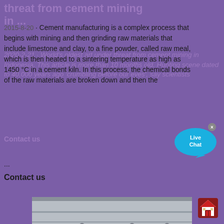threat from cement mining in ...
2015-8-20 · Cement manufacturing is a complex process that begins with mining and then grinding raw materials that include limestone and clay, to a fine powder, called raw meal, which is then heated to a sintering temperature as high as 1450 °C in a cement kiln. In this process, the chemical bonds of the raw materials are broken down and then the ...
2020-2-21 · World's oldest art under threat from cement mining in Indonesia. This article is more than 10 months old. Hunting scene dated to 40,000 years ago 'crumbling before our eyes', say scientists
Contact us
...
Contact us
[Figure (photo): Industrial mining or cement processing equipment - a large grey metal conveyor or screening machine inside a warehouse/factory building, with yellow accents visible.]